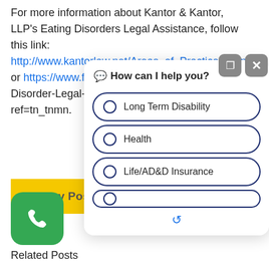For more information about Kantor & Kantor, LLP's Eating Disorders Legal Assistance, follow this link: http://www.kantorlaw.net/Areas_of_Practice/Eating or https://www.face... ating-Disorder-Legal-Assi...561013?ref=tn_tnmn.
[Figure (screenshot): Chat widget overlay showing 'How can I help you?' with three radio button options: Long Term Disability, Health, Life/AD&D Insurance. Top right has expand and close icon buttons in gray.]
Prev Post ←
[Figure (screenshot): Green rounded square button with white phone/call icon]
Related Posts